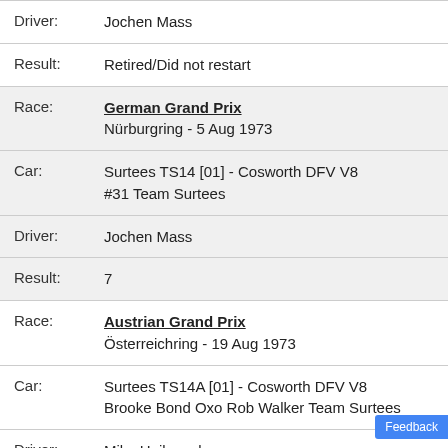| Driver: | Jochen Mass |
| Result: | Retired/Did not restart |
| Race: | German Grand Prix
Nürburgring - 5 Aug 1973 |
| Car: | Surtees TS14 [01] - Cosworth DFV V8
#31 Team Surtees |
| Driver: | Jochen Mass |
| Result: | 7 |
| Race: | Austrian Grand Prix
Österreichring - 19 Aug 1973 |
| Car: | Surtees TS14A [01] - Cosworth DFV V8
Brooke Bond Oxo Rob Walker Team Surtees |
| Driver: | Mike Hailwood |